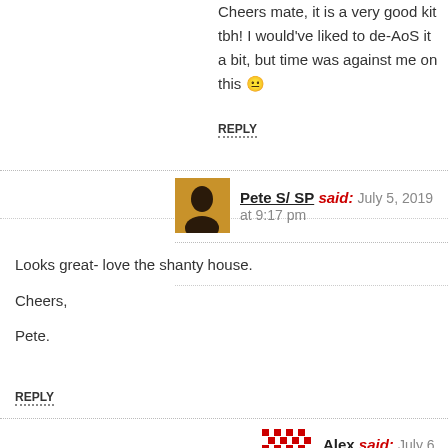Cheers mate, it is a very good kit tbh! I would've liked to de-AoS it a bit, but time was against me on this 😐
REPLY
Pete S/ SP said: July 5, 2019 at 9:17 pm
Looks great- love the shanty house.

Cheers,

Pete.
REPLY
Alex said: July 6, 2019 at 8:53 am
Thanks Pete, glad you like it mate – those huts were good fun 😊
REPLY